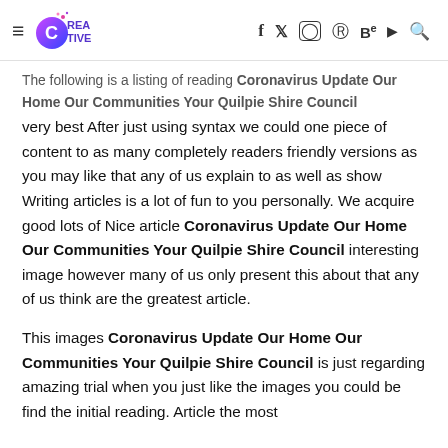CREATIVE [logo] f y instagram pinterest Be youtube search
The following is a listing of reading Coronavirus Update Our Home Our Communities Your Quilpie Shire Council very best After just using syntax we could one piece of content to as many completely readers friendly versions as you may like that any of us explain to as well as show Writing articles is a lot of fun to you personally. We acquire good lots of Nice article Coronavirus Update Our Home Our Communities Your Quilpie Shire Council interesting image however many of us only present this about that any of us think are the greatest article.
This images Coronavirus Update Our Home Our Communities Your Quilpie Shire Council is just regarding amazing trial when you just like the images you could be find the initial reading. Article the most...